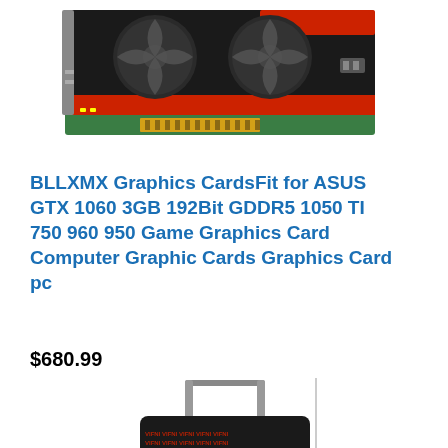[Figure (photo): ASUS GTX 1060 graphics card with dual fans, red and black design, PCIe gold connector visible]
BLLXMX Graphics CardsFit for ASUS GTX 1060 3GB 192Bit GDDR5 1050 TI 750 960 950 Game Graphics Card Computer Graphic Cards Graphics Card pc
$680.99
[Figure (photo): Rolling luggage suitcase with patterned design featuring repeated text, silver handle extended, small and compact]